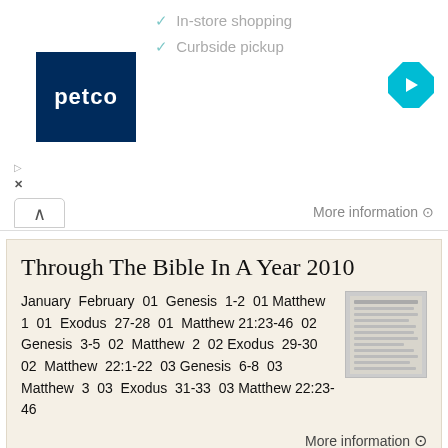✓ In-store shopping
✓ Curbside pickup
[Figure (logo): Petco logo — white text on dark blue background]
More information →
Through The Bible In A Year 2010
January  February  01  Genesis  1-2  01 Matthew  1  01  Exodus  27-28  01  Matthew 21:23-46  02  Genesis  3-5  02  Matthew  2  02 Exodus  29-30  02  Matthew  22:1-22  03 Genesis  6-8  03  Matthew  3  03  Exodus  31-33  03 Matthew 22:23-46
More information →
Bible Reading Plan. July
January 01- Genesis 1, 2, 3 02- Genesis 4:1-6:8 03- Genesis 6:9-9:29 04- Genesis 10, 11 05- Genesis 12, 13, 14 06- Genesis 15, 16